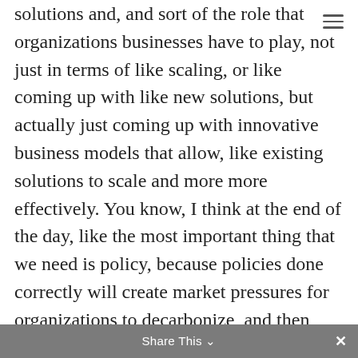exciting opportunities in the world of climate solutions and, and sort of the role that organizations businesses have to play, not just in terms of like scaling, or like coming up with like new solutions, but actually just coming up with innovative business models that allow, like existing solutions to scale and more more effectively. You know, I think at the end of the day, like the most important thing that we need is policy, because policies done correctly will create market pressures for organizations to decarbonize, and then, you know, whatever they can decarbonize, you know, we need like, we need to like raise the bar on what it means for an organization to be climate, impactful, climate friendly
Share This